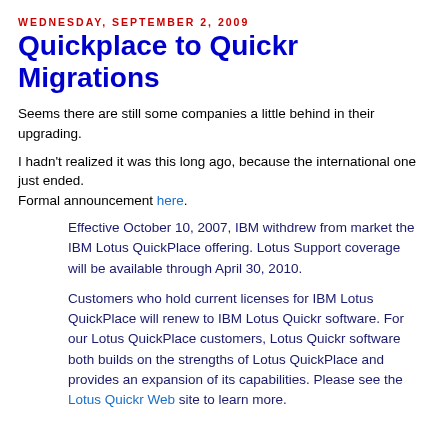Wednesday, September 2, 2009
Quickplace to Quickr Migrations
Seems there are still some companies a little behind in their upgrading.
I hadn't realized it was this long ago, because the international one just ended. Formal announcement here.
Effective October 10, 2007, IBM withdrew from market the IBM Lotus QuickPlace offering. Lotus Support coverage will be available through April 30, 2010.
Customers who hold current licenses for IBM Lotus QuickPlace will renew to IBM Lotus Quickr software. For our Lotus QuickPlace customers, Lotus Quickr software both builds on the strengths of Lotus QuickPlace and provides an expansion of its capabilities. Please see the Lotus Quickr Web site to learn more.